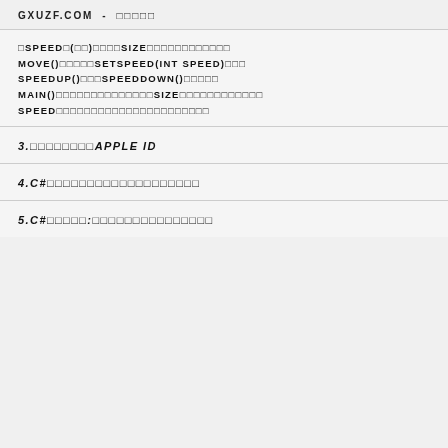GXUZF.COM - 资源导航
▪SPEED▪(▪▪)▪▪▪▪SIZE▪▪▪▪▪▪▪▪▪▪▪▪ MOVE()▪▪▪▪▪SETSPEED(INT SPEED)▪▪▪ SPEEDUP()▪▪▪SPEEDDOWN()▪▪▪▪▪ MAIN()▪▪▪▪▪▪▪▪▪▪▪▪▪▪SIZE▪▪▪▪▪▪▪▪▪▪▪▪ SPEED▪▪▪▪▪▪▪▪▪▪▪▪▪▪▪▪▪▪▪▪▪▪
3.▪▪▪▪▪▪▪▪APPLE ID
4.C#▪▪▪▪▪▪▪▪▪▪▪▪▪▪▪▪▪▪▪
5.C#▪▪▪▪▪:▪▪▪▪▪▪▪▪▪▪▪▪▪▪▪